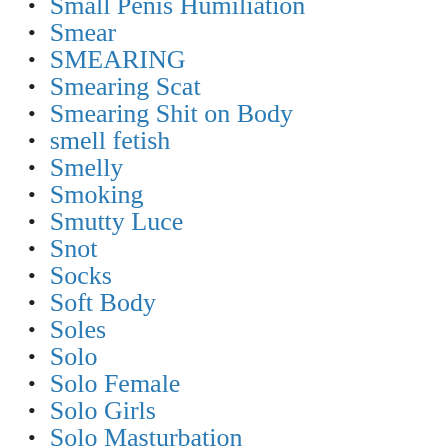Small Penis Humiliation
Smear
SMEARING
Smearing Scat
Smearing Shit on Body
smell fetish
Smelly
Smoking
Smutty Luce
Snot
Socks
Soft Body
Soles
Solo
Solo Female
Solo Girls
Solo Masturbation